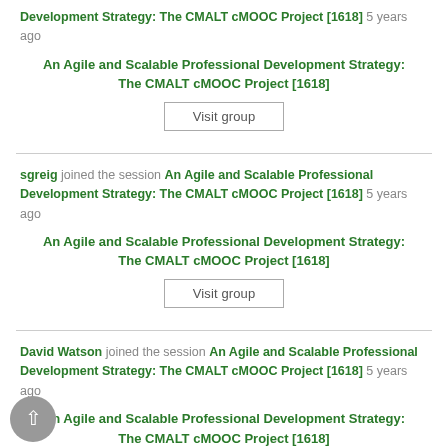Development Strategy: The CMALT cMOOC Project [1618] 5 years ago
An Agile and Scalable Professional Development Strategy: The CMALT cMOOC Project [1618]
Visit group
sgreig joined the session An Agile and Scalable Professional Development Strategy: The CMALT cMOOC Project [1618] 5 years ago
An Agile and Scalable Professional Development Strategy: The CMALT cMOOC Project [1618]
Visit group
David Watson joined the session An Agile and Scalable Professional Development Strategy: The CMALT cMOOC Project [1618] 5 years ago
An Agile and Scalable Professional Development Strategy: The CMALT cMOOC Project [1618]